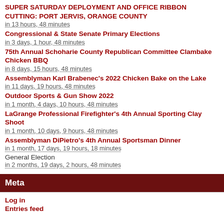SUPER SATURDAY DEPLOYMENT AND OFFICE RIBBON CUTTING: PORT JERVIS, ORANGE COUNTY
in 13 hours, 48 minutes
Congressional & State Senate Primary Elections
in 3 days, 1 hour, 48 minutes
75th Annual Schoharie County Republican Committee Clambake Chicken BBQ
in 8 days, 15 hours, 48 minutes
Assemblyman Karl Brabenec's 2022 Chicken Bake on the Lake
in 11 days, 19 hours, 48 minutes
Outdoor Sports & Gun Show 2022
in 1 month, 4 days, 10 hours, 48 minutes
LaGrange Professional Firefighter's 4th Annual Sporting Clay Shoot
in 1 month, 10 days, 9 hours, 48 minutes
Assemblyman DiPietro's 4th Annual Sportsman Dinner
in 1 month, 17 days, 19 hours, 18 minutes
General Election
in 2 months, 19 days, 2 hours, 48 minutes
Meta
Log in
Entries feed